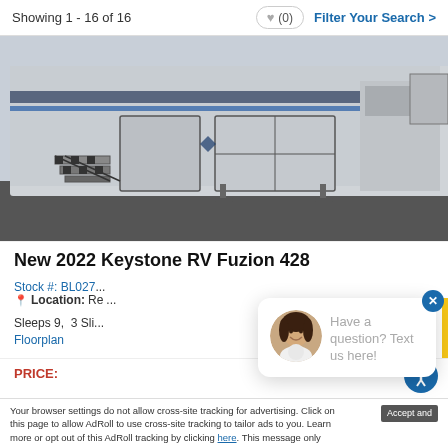Showing 1 - 16 of 16    ♥ (0)    Filter Your Search >
[Figure (photo): Photo of a large fifth-wheel RV trailer (Keystone Fuzion) parked on asphalt showing the side, entry steps, and storage compartments. Silver/grey exterior with black and blue stripes.]
New 2022 Keystone RV Fuzion 428
Stock #: BL027...
Location: Re...
Sleeps 9,  3 Sli...
Floorplan
PRICE:
[Figure (photo): Chat popup overlay with circular avatar photo of a smiling woman with dark hair, white blouse. Text reads: Have a question? Text us here!]
Your browser settings do not allow cross-site tracking for advertising. Click on this page to allow AdRoll to use cross-site tracking to tailor ads to you. Learn more or opt out of this AdRoll tracking by clicking here. This message only appears once.